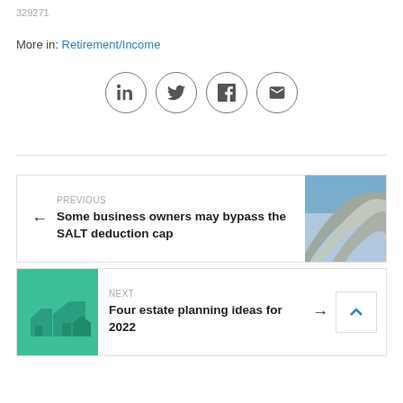329271
More in: Retirement/Income
[Figure (other): Social sharing icons: LinkedIn, Twitter, Facebook, Email — circular outlined buttons]
[Figure (other): Previous article navigation card with arrow left, label PREVIOUS, title 'Some business owners may bypass the SALT deduction cap', and thumbnail image of freeway overpass]
[Figure (other): Next article navigation card with thumbnail image of green houses, label NEXT, title 'Four estate planning ideas for 2022', arrow right, and up/back-to-top button]